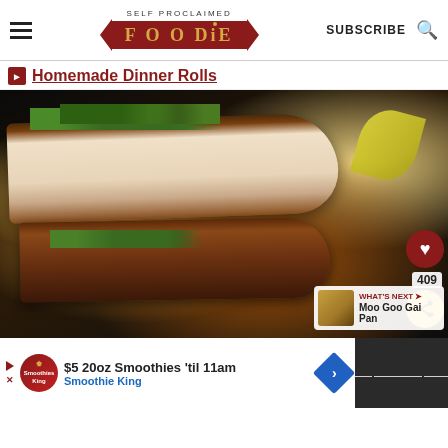SELF PROCLAIMED FOODIE — SUBSCRIBE
Homemade Dinner Rolls
[Figure (photo): Close-up photo of sliced roasted chicken or pork tenderloin garnished with fresh herbs, with lemon wedges in background on a dark roasting pan]
WHAT'S NEXT → Moo Goo Gai Pan
$5 20oz Smoothies 'til 11am Smoothie King